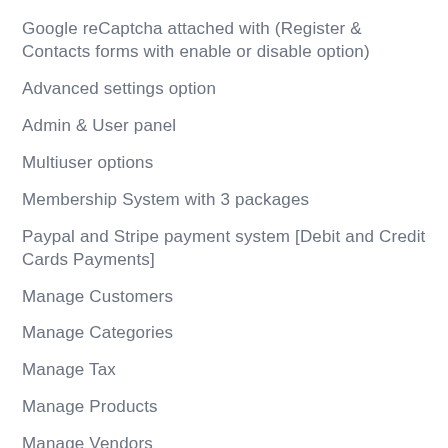Google reCaptcha attached with (Register & Contacts forms with enable or disable option)
Advanced settings option
Admin & User panel
Multiuser options
Membership System with 3 packages
Paypal and Stripe payment system [Debit and Credit Cards Payments]
Manage Customers
Manage Categories
Manage Tax
Manage Products
Manage Vendors
Manage Expenses